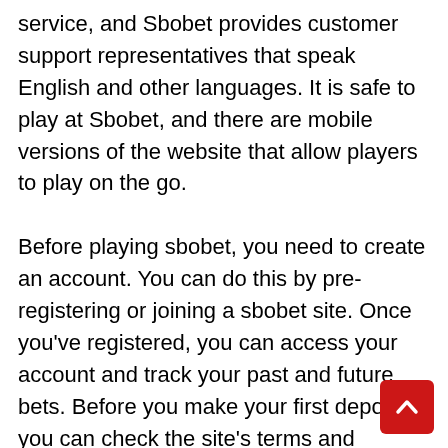service, and Sbobet provides customer support representatives that speak English and other languages. It is safe to play at Sbobet, and there are mobile versions of the website that allow players to play on the go.
Before playing sbobet, you need to create an account. You can do this by pre-registering or joining a sbobet site. Once you've registered, you can access your account and track your past and future bets. Before you make your first deposit, you can check the site's terms and conditions and make sure you understand all of the requirements. Ideally, you'll want to find a reputable gambling site, but you should also consider the reputation of the website.
There are several ways to fund your account on Sbobet. You can use your credit card or wire